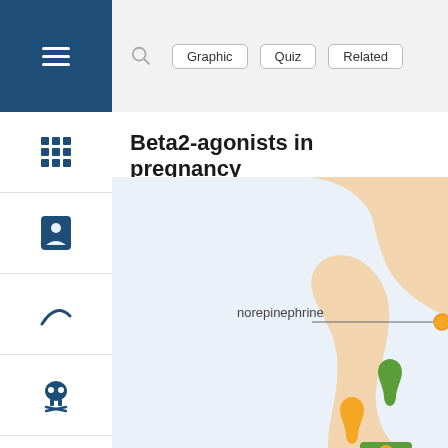Beta2-agonists in pregnancy
Beta2-agonists in pregnancy
[Figure (schematic): Pharmacological diagram showing norepinephrine signaling pathway with beta1 receptor, ATP, and AC (adenylate cyclase) components. Orange curved shapes represent cell membrane, green box shows beta1 receptor with orange dot, blue rectangle shows AC enzyme, orange and green teardrop shapes indicate signaling molecules, and an arrow leads from ATP toward AC.]